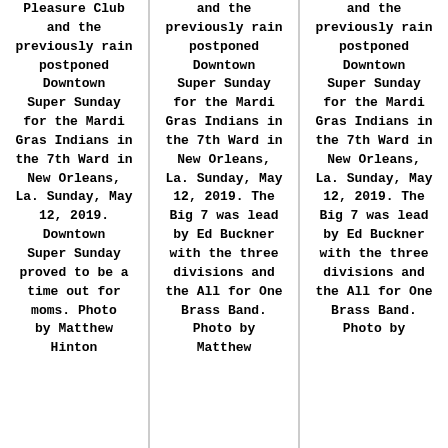Pleasure Club and the previously rain postponed Downtown Super Sunday for the Mardi Gras Indians in the 7th Ward in New Orleans, La. Sunday, May 12, 2019. Downtown Super Sunday proved to be a time out for moms. Photo by Matthew Hinton
and the previously rain postponed Downtown Super Sunday for the Mardi Gras Indians in the 7th Ward in New Orleans, La. Sunday, May 12, 2019. The Big 7 was lead by Ed Buckner with the three divisions and the All for One Brass Band. Photo by Matthew
and the previously rain postponed Downtown Super Sunday for the Mardi Gras Indians in the 7th Ward in New Orleans, La. Sunday, May 12, 2019. The Big 7 was lead by Ed Buckner with the three divisions and the All for One Brass Band. Photo by